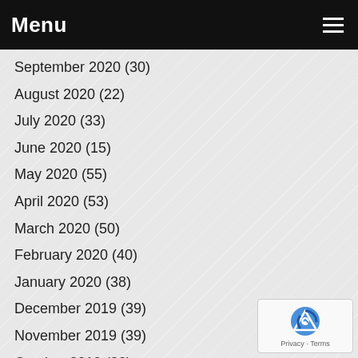Menu
September 2020 (30)
August 2020 (22)
July 2020 (33)
June 2020 (15)
May 2020 (55)
April 2020 (53)
March 2020 (50)
February 2020 (40)
January 2020 (38)
December 2019 (39)
November 2019 (39)
October 2019 (30)
September 2019 (61)
August 2019 (22)
July 2019 (25)
June 2019 (16)